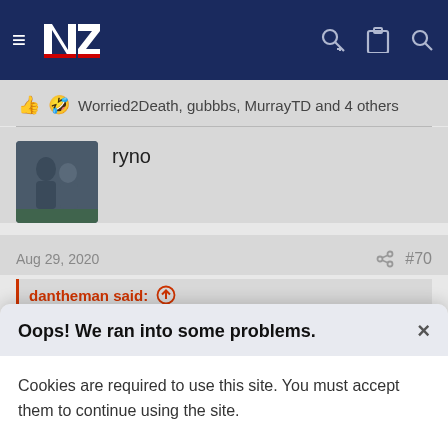NZ Warriors forum navigation bar
👍 🤣 Worried2Death, gubbbs, MurrayTD and 4 others
ryno
Aug 29, 2020
#70
dantheman said: ↑
Have Jose and his comments in this article, he must be such an
Oops! We ran into some problems.
Cookies are required to use this site. You must accept them to continue using the site.